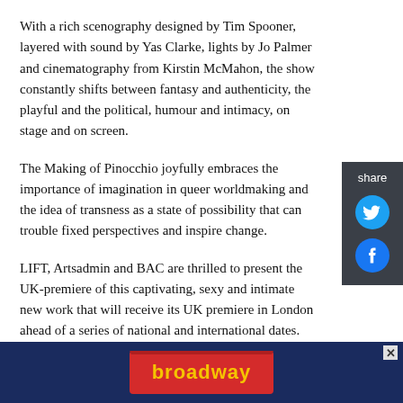With a rich scenography designed by Tim Spooner, layered with sound by Yas Clarke, lights by Jo Palmer and cinematography from Kirstin McMahon, the show constantly shifts between fantasy and authenticity, the playful and the political, humour and intimacy, on stage and on screen.
The Making of Pinocchio joyfully embraces the importance of imagination in queer worldmaking and the idea of transness as a state of possibility that can trouble fixed perspectives and inspire change.
LIFT, Artsadmin and BAC are thrilled to present the UK-premiere of this captivating, sexy and intimate new work that will receive its UK premiere in London ahead of a series of national and international dates.
[Figure (illustration): Broadway advertisement banner at the bottom of the page with the Broadway logo in red on a dark blue background]